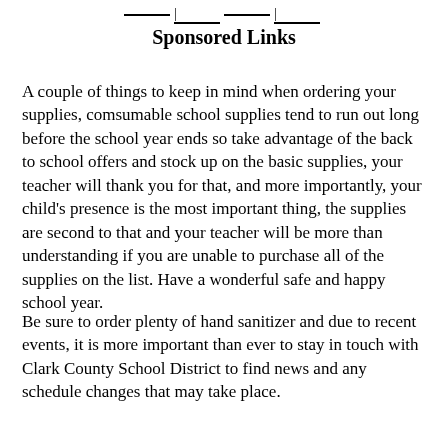Sponsored Links
A couple of things to keep in mind when ordering your supplies, comsumable school supplies tend to run out long before the school year ends so take advantage of the back to school offers and stock up on the basic supplies, your teacher will thank you for that, and more importantly, your child's presence is the most important thing, the supplies are second to that and your teacher will be more than understanding if you are unable to purchase all of the supplies on the list. Have a wonderful safe and happy school year.
Be sure to order plenty of hand sanitizer and due to recent events, it is more important than ever to stay in touch with Clark County School District to find news and any schedule changes that may take place.